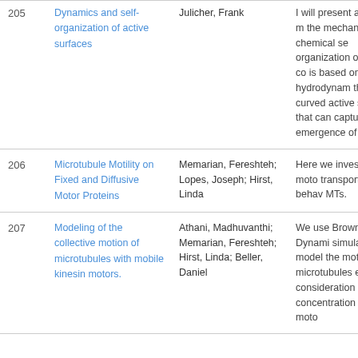| # | Title | Author | Abstract |
| --- | --- | --- | --- |
| 205 | Dynamics and self-organization of active surfaces | Julicher, Frank | I will present a minimal m the mechano-chemical se organization of the cell co is based on a hydrodynam theory of curved active su and that can capture the emergence of shapes. |
| 206 | Microtubule Motility on Fixed and Diffusive Motor Proteins | Memarian, Fereshteh; Lopes, Joseph; Hirst, Linda | Here we investigate moto transportation and behav MTs. |
| 207 | Modeling of the collective motion of microtubules with mobile kinesin motors. | Athani, Madhuvanthi; Memarian, Fereshteh; Hirst, Linda; Beller, Daniel | We use Brownian Dynami simulations to model the motions of microtubules explicit consideration of th concentration of the moto |